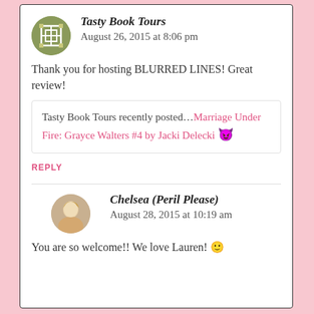[Figure (illustration): Avatar for Tasty Book Tours: circular green/olive icon with decorative cross/shield pattern]
Tasty Book Tours
August 26, 2015 at 8:06 pm
Thank you for hosting BLURRED LINES! Great review!
Tasty Book Tours recently posted…Marriage Under Fire: Grayce Walters #4 by Jacki Delecki 🔱
REPLY
[Figure (photo): Circular avatar photo of Chelsea, a woman with blonde hair]
Chelsea (Peril Please)
August 28, 2015 at 10:19 am
You are so welcome!! We love Lauren! 🙂